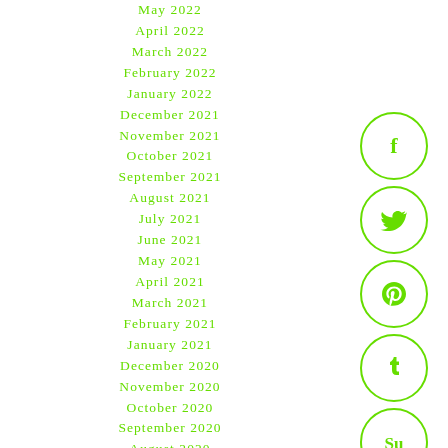May 2022
April 2022
March 2022
February 2022
January 2022
December 2021
November 2021
October 2021
September 2021
August 2021
July 2021
June 2021
May 2021
April 2021
March 2021
February 2021
January 2021
December 2020
November 2020
October 2020
September 2020
August 2020
[Figure (illustration): Social media icons: Facebook, Twitter, Pinterest, Tumblr, StumbleUpon — each in a green circle outline]